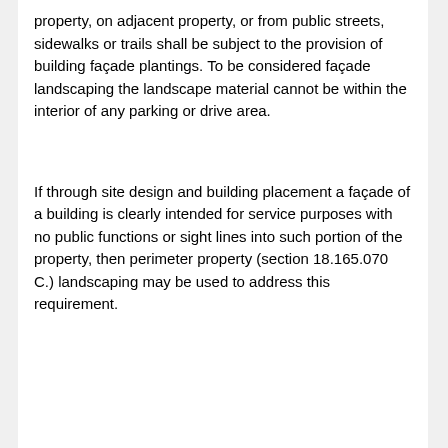property, on adjacent property, or from public streets, sidewalks or trails shall be subject to the provision of building façade plantings. To be considered façade landscaping the landscape material cannot be within the interior of any parking or drive area.
If through site design and building placement a façade of a building is clearly intended for service purposes with no public functions or sight lines into such portion of the property, then perimeter property (section 18.165.070 C.) landscaping may be used to address this requirement.